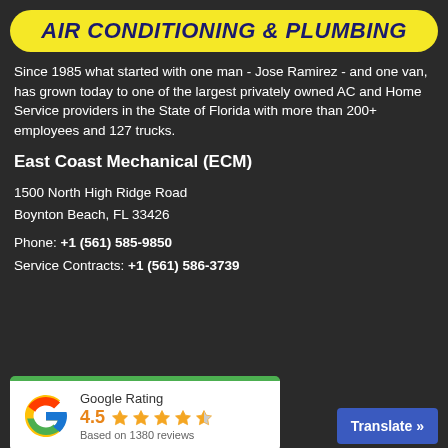AIR CONDITIONING & PLUMBING
Since 1985 what started with one man - Jose Ramirez - and one van, has grown today to one of the largest privately owned AC and Home Service providers in the State of Florida with more than 200+ employees and 127 trucks.
East Coast Mechanical (ECM)
1500 North High Ridge Road
Boynton Beach, FL 33426
Phone: +1 (561) 585-9850
Service Contracts: +1 (561) 586-3739
[Figure (infographic): Google Rating widget showing 4.5 stars based on 1380 reviews, with Google logo and green top border]
Translate »